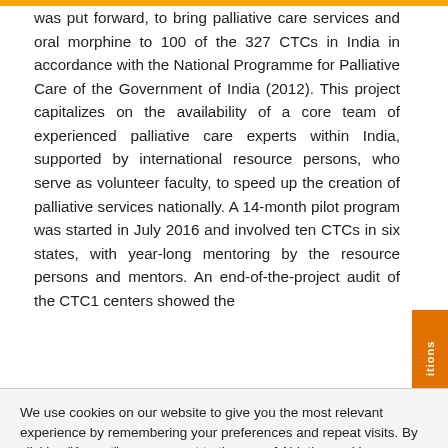was put forward, to bring palliative care services and oral morphine to 100 of the 327 CTCs in India in accordance with the National Programme for Palliative Care of the Government of India (2012). This project capitalizes on the availability of a core team of experienced palliative care experts within India, supported by international resource persons, who serve as volunteer faculty, to speed up the creation of palliative services nationally. A 14-month pilot program was started in July 2016 and involved ten CTCs in six states, with year-long mentoring by the resource persons and mentors. An end-of-the-project audit of the CTC1 centers showed the
We use cookies on our website to give you the most relevant experience by remembering your preferences and repeat visits. By clicking "Accept", you consent to the use of ALL the cookies.
Do not sell my personal information.